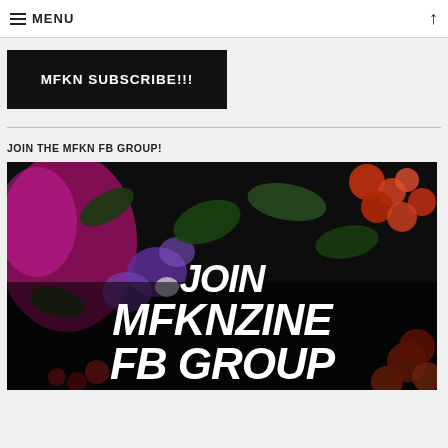MENU
MFKN SUBSCRIBE!!!
JOIN THE MFKN FB GROUP!
[Figure (photo): Floral background image with bold italic white text reading JOIN MFKNZINE FB GROUP overlaid on dark flower photograph]